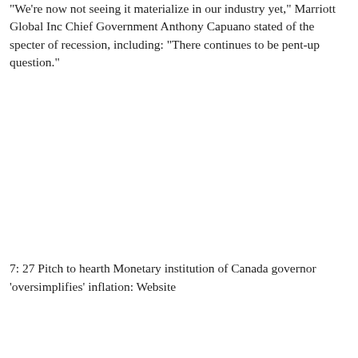"We're now not seeing it materialize in our industry yet," Marriott Global Inc Chief Government Anthony Capuano stated of the specter of recession, including: "There continues to be pent-up question."
7: 27 Pitch to hearth Monetary institution of Canada governor 'oversimplifies' inflation: Website